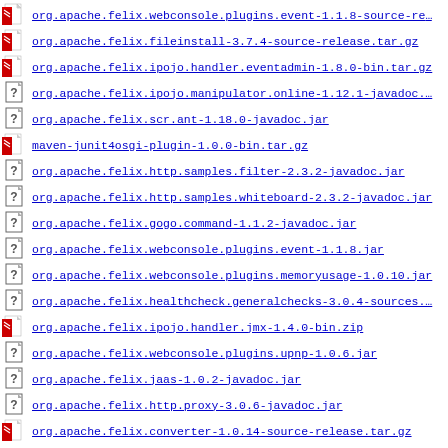org.apache.felix.webconsole.plugins.event-1.1.8-source-re…
org.apache.felix.fileinstall-3.7.4-source-release.tar.gz
org.apache.felix.ipojo.handler.eventadmin-1.8.0-bin.tar.gz
org.apache.felix.ipojo.manipulator.online-1.12.1-javadoc.…
org.apache.felix.scr.ant-1.18.0-javadoc.jar
maven-junit4osgi-plugin-1.0.0-bin.tar.gz
org.apache.felix.http.samples.filter-2.3.2-javadoc.jar
org.apache.felix.http.samples.whiteboard-2.3.2-javadoc.jar
org.apache.felix.gogo.command-1.1.2-javadoc.jar
org.apache.felix.webconsole.plugins.event-1.1.8.jar
org.apache.felix.webconsole.plugins.memoryusage-1.0.10.jar
org.apache.felix.healthcheck.generalchecks-3.0.4-sources.…
org.apache.felix.ipojo.handler.jmx-1.4.0-bin.zip
org.apache.felix.webconsole.plugins.upnp-1.0.6.jar
org.apache.felix.jaas-1.0.2-javadoc.jar
org.apache.felix.http.proxy-3.0.6-javadoc.jar
org.apache.felix.converter-1.0.14-source-release.tar.gz